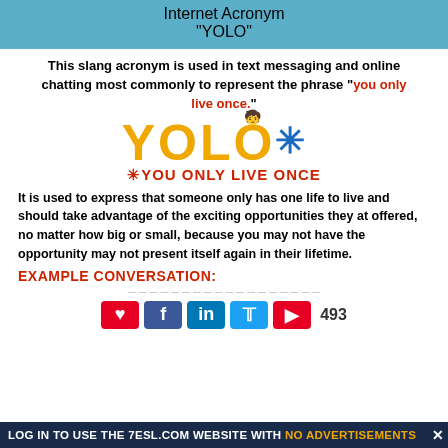Internet Acronym
"YOLO"
This slang acronym is used in text messaging and online chatting most commonly to represent the phrase "you only live once."
[Figure (illustration): YOLO logo in orange bold letters with a small figure of a person sitting cross-legged above the O, a blue asterisk/puzzle piece to the right, and subtitle 'YOU ONLY LIVE ONCE' in red]
It is used to express that someone only has one life to live and should take advantage of the exciting opportunities they at offered, no matter how big or small, because you may not have the opportunity may not present itself again in their lifetime.
EXAMPLE CONVERSATION:
493
LOG IN TO USE THE 7ESL.COM WEBSITE WITH NO ADVERTISEMENTS